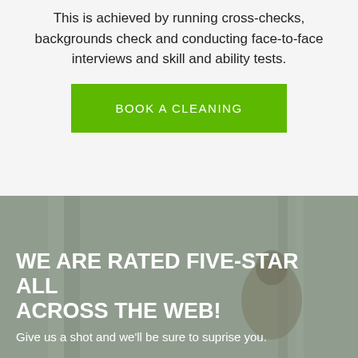This is achieved by running cross-checks, backgrounds check and conducting face-to-face interviews and skill and ability tests.
BOOK A CLEANING
[Figure (photo): A person sitting in a bright room with curtains in the background, overlaid with text about five-star ratings.]
WE ARE RATED FIVE-STAR ALL ACROSS THE WEB!
Give us a shot and we'll be sure to suprise you.